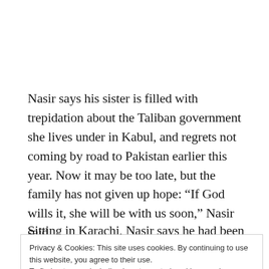Nasir says his sister is filled with trepidation about the Taliban government she lives under in Kabul, and regrets not coming by road to Pakistan earlier this year. Now it may be too late, but the family has not given up hope: “If God wills it, she will be with us soon,” Nasir said.
Sitting in Karachi, Nasir says he had been playing an
Privacy & Cookies: This site uses cookies. By continuing to use this website, you agree to their use.
To find out more, including how to control cookies, see here: Cookie Policy
Close and accept